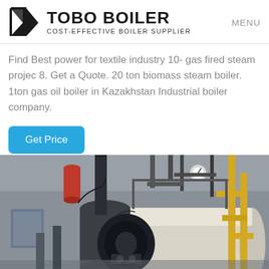TOBO BOILER — COST-EFFECTIVE BOILER SUPPLIER | MENU
Find Best power for textile industry 10- gas fired steam projec 8. Get a Quote. 20 ton biomass steam boiler. 1ton gas oil boiler in Kazakhstan Industrial boiler company.
Get Price
[Figure (photo): Industrial gas-fired steam boiler in a factory setting showing horizontal pressure vessel, large cylindrical tank, burner assembly, yellow gas piping, gauges, and various pipes and fittings]